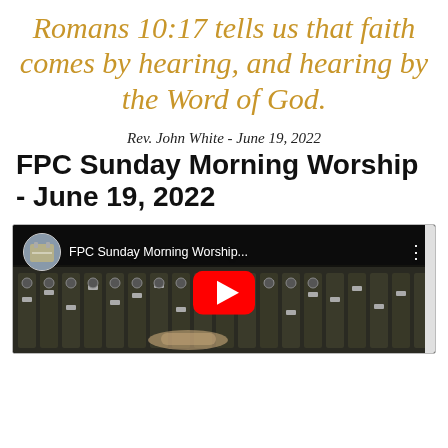Romans 10:17 tells us that faith comes by hearing, and hearing by the Word of God.
Rev. John White - June 19, 2022
FPC Sunday Morning Worship - June 19, 2022
[Figure (screenshot): YouTube video thumbnail showing a mixing board/audio console. Video title reads 'FPC Sunday Morning Worship...' with a red YouTube play button in the center.]